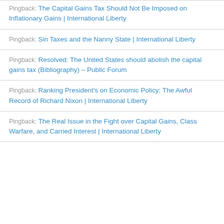Pingback: The Capital Gains Tax Should Not Be Imposed on Inflationary Gains | International Liberty
Pingback: Sin Taxes and the Nanny State | International Liberty
Pingback: Resolved: The United States should abolish the capital gains tax (Bibliography) – Public Forum
Pingback: Ranking President's on Economic Policy: The Awful Record of Richard Nixon | International Liberty
Pingback: The Real Issue in the Fight over Capital Gains, Class Warfare, and Carried Interest | International Liberty